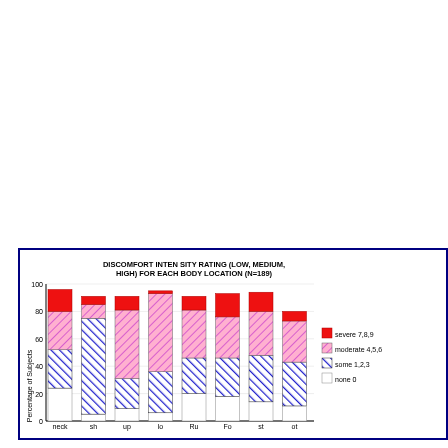[Figure (stacked-bar-chart): DISCOMFORT INTENSITY RATING (LOW, MEDIUM, HIGH) FOR EACH BODY LOCATION (N=189)]